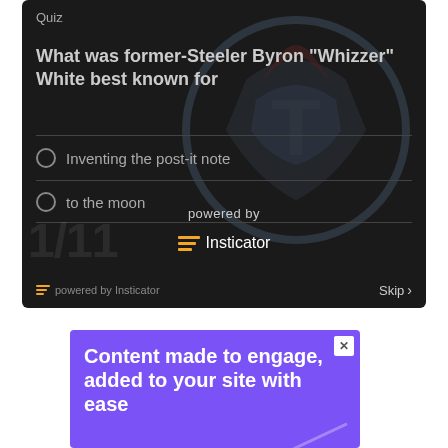[Figure (screenshot): Quiz widget with dark background showing NFL Titans logo watermark. Question: 'What was former-Steeler Byron "Whizzer" White best known for?' with answer options including 'Inventing the post-it note' and 'to the moon'. Bottom shows 'powered by Insticator' branding and Skip button.]
[Figure (screenshot): Purple advertisement banner reading 'Content made to engage, added to your site with ease' with a close (X) button in the top right corner.]